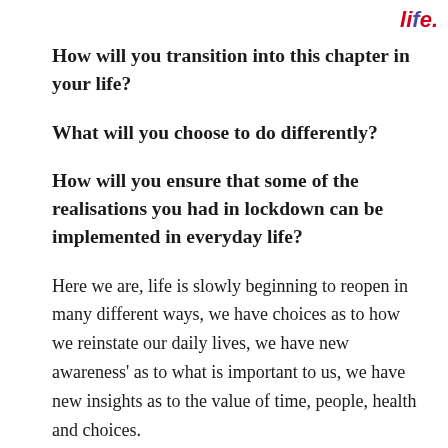[Figure (logo): Stylized italic 'life.' logo in red and blue/purple colors, top right corner]
How will you transition into this chapter in your life?
What will you choose to do differently?
How will you ensure that some of the realisations you had in lockdown can be implemented in everyday life?
Here we are, life is slowly beginning to reopen in many different ways, we have choices as to how we reinstate our daily lives, we have new awareness' as to what is important to us, we have new insights as to the value of time, people, health and choices.
Life has been in a state of limbo, if you have continued